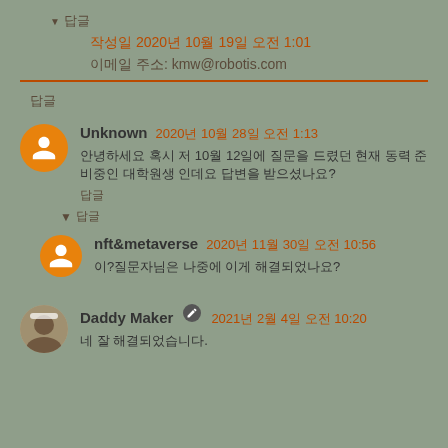▼ 답글
작성일 2020년 10월 19일 오전 1:01
이메일 주소: kmw@robotis.com
답글
Unknown 2020년 10월 28일 오전 1:13
안녕하세요 혹시 저 10월 12일에 질문을 드렸던 현재 동력 준비중인 대학원생 인데요 답변을 받으셨나요?
답글
▼ 답글
nft&metaverse 2020년 11월 30일 오전 10:56
이?질문자님은 나중에 이게 해결되었나요?
Daddy Maker 2021년 2월 4일 오전 10:20
네 잘 해결되었습니다.